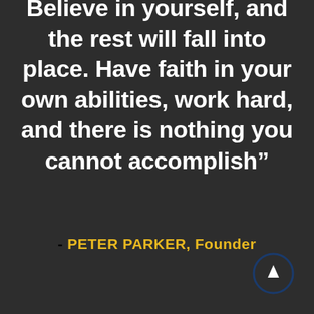Believe in yourself, and the rest will fall into place. Have faith in your own abilities, work hard, and there is nothing you cannot accomplish"
- PETER PARKER, Founder